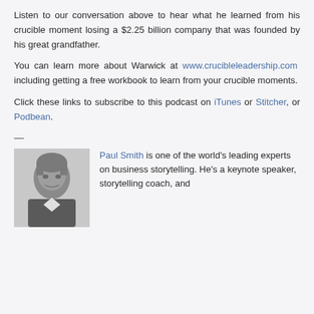Listen to our conversation above to hear what he learned from his crucible moment losing a $2.25 billion company that was founded by his great grandfather.
You can learn more about Warwick at www.crucibleleadership.com including getting a free workbook to learn from your crucible moments.
Click these links to subscribe to this podcast on iTunes or Stitcher, or Podbean.
—
[Figure (photo): Headshot photo of Paul Smith, a man with short gray-brown hair.]
Paul Smith is one of the world's leading experts on business storytelling. He's a keynote speaker, storytelling coach, and